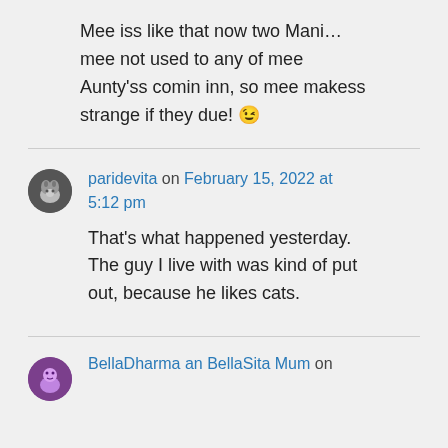Mee iss like that now two Mani… mee not used to any of mee Aunty'ss comin inn, so mee makess strange if they due! 😉
paridevita on February 15, 2022 at 5:12 pm
That's what happened yesterday. The guy I live with was kind of put out, because he likes cats.
BellaDharma an BellaSita Mum on